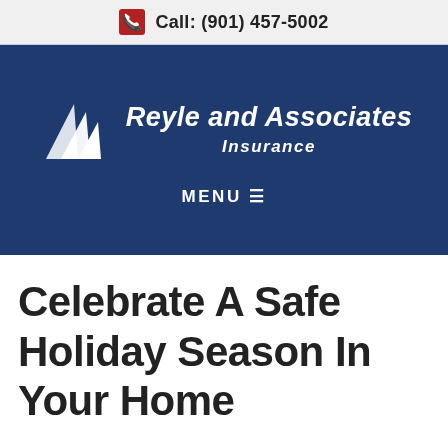Call: (901) 457-5002
[Figure (logo): Reyle and Associates Insurance logo with stylized triangular sail/flag shapes in white on dark blue background, company name in white italic bold text]
Celebrate A Safe Holiday Season In Your Home